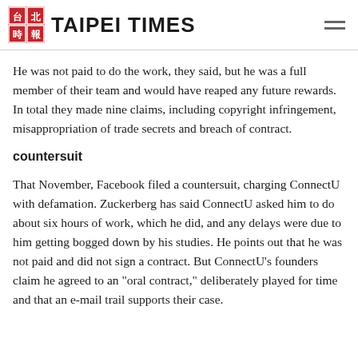TAIPEI TIMES
He was not paid to do the work, they said, but he was a full member of their team and would have reaped any future rewards. In total they made nine claims, including copyright infringement, misappropriation of trade secrets and breach of contract.
countersuit
That November, Facebook filed a countersuit, charging ConnectU with defamation. Zuckerberg has said ConnectU asked him to do about six hours of work, which he did, and any delays were due to him getting bogged down by his studies. He points out that he was not paid and did not sign a contract. But ConnectU's founders claim he agreed to an "oral contract," deliberately played for time and that an e-mail trail supports their case.